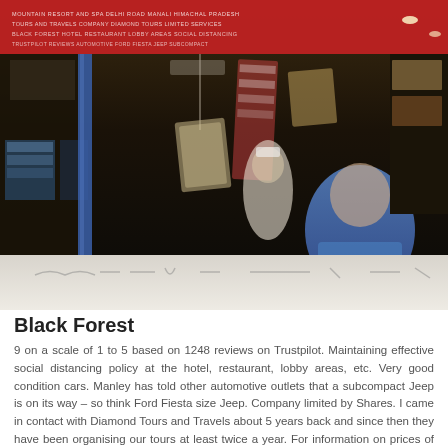[Figure (photo): Outdoor market or shop scene in what appears to be South Asia. A red banner with text hangs at top. Two people visible inside the shop — one wearing white, one in a blue shirt. Various items hanging. Bottom of photo shows a pale strip with faint handwritten-style text.]
Black Forest
9 on a scale of 1 to 5 based on 1248 reviews on Trustpilot. Maintaining effective social distancing policy at the hotel, restaurant, lobby areas, etc. Very good condition cars. Manley has told other automotive outlets that a subcompact Jeep is on its way – so think Ford Fiesta size Jeep. Company limited by Shares. I came in contact with Diamond Tours and Travels about 5 years back and since then they have been organising our tours at least twice a year. For information on prices of Bus and Train, costs and ride